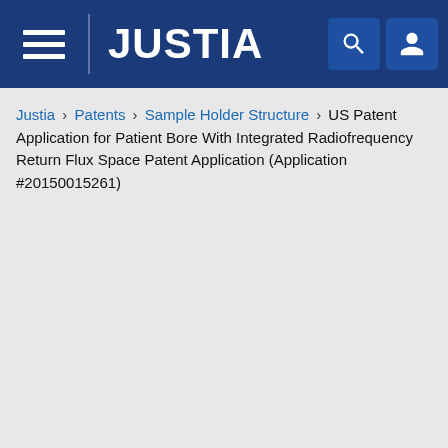JUSTIA
Justia › Patents › Sample Holder Structure › US Patent Application for Patient Bore With Integrated Radiofrequency Return Flux Space Patent Application (Application #20150015261)